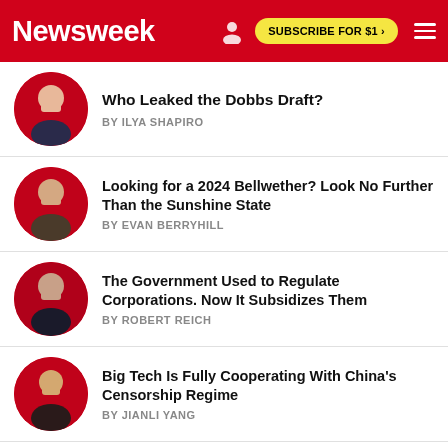Newsweek | SUBSCRIBE FOR $1 >
Who Leaked the Dobbs Draft? BY ILYA SHAPIRO
Looking for a 2024 Bellwether? Look No Further Than the Sunshine State BY EVAN BERRYHILL
The Government Used to Regulate Corporations. Now It Subsidizes Them BY ROBERT REICH
Big Tech Is Fully Cooperating With China's Censorship Regime BY JIANLI YANG
Jennifer Grey: Banning Abortion Puts Women in a Corner